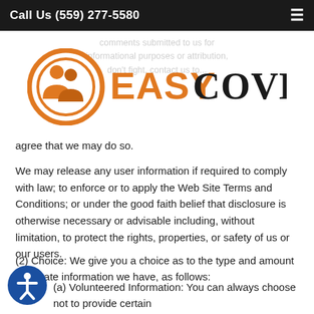Call Us (559) 277-5580
[Figure (logo): EasyCovered logo with orange circular icon and text EASYCOVERED]
comments submitted to us for informational purposes or attribution, don't fight, contact us to ...agree that we may do so.
We may release any user information if required to comply with law; to enforce or to apply the Web Site Terms and Conditions; or under the good faith belief that disclosure is otherwise necessary or advisable including, without limitation, to protect the rights, properties, or safety of us or our users.
(2) Choice: We give you a choice as to the type and amount of private information we have, as follows:
(a) Volunteered Information: You can always choose not to provide certain